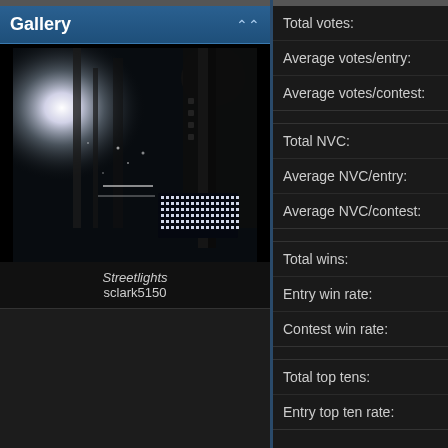Gallery
[Figure (photo): Black and white photograph titled 'Streetlights' showing urban nighttime scene with bright light source and mechanical/industrial elements, by sclark5150]
Streetlights
sclark5150
Total votes:
Average votes/entry:
Average votes/contest:
Total NVC:
Average NVC/entry:
Average NVC/contest:
Total wins:
Entry win rate:
Contest win rate:
Total top tens:
Entry top ten rate: